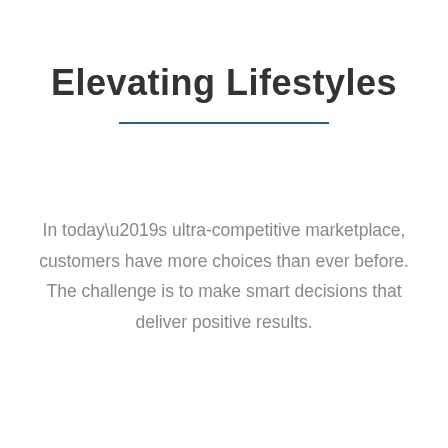Elevating Lifestyles
In today’s ultra-competitive marketplace, customers have more choices than ever before. The challenge is to make smart decisions that deliver positive results.